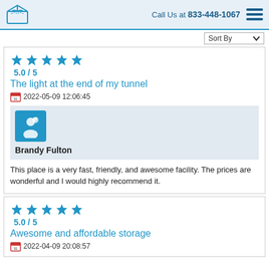Call Us at 833-448-1067
Sort By
5.0 / 5
The light at the end of my tunnel
2022-05-09 12:06:45
Brandy Fulton
This place is a very fast, friendly, and awesome facility. The prices are wonderful and I would highly recommend it.
5.0 / 5
Awesome and affordable storage
2022-04-09 20:08:57